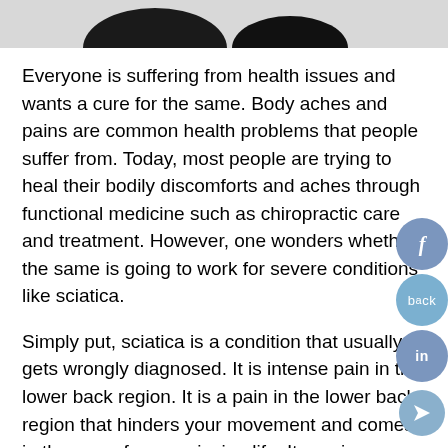[Figure (illustration): Partial top image showing dark silhouettes/shapes on a light gray background, cropped at top of page]
Everyone is suffering from health issues and wants a cure for the same. Body aches and pains are common health problems that people suffer from. Today, most people are trying to heal their bodily discomforts and aches through functional medicine such as chiropractic care and treatment. However, one wonders whether the same is going to work for severe conditions like sciatica.
Simply put, sciatica is a condition that usually gets wrongly diagnosed. It is intense pain in the lower back region. It is a pain in the lower back region that hinders your movement and comes in the way of your enjoying life. It requires medical attention.